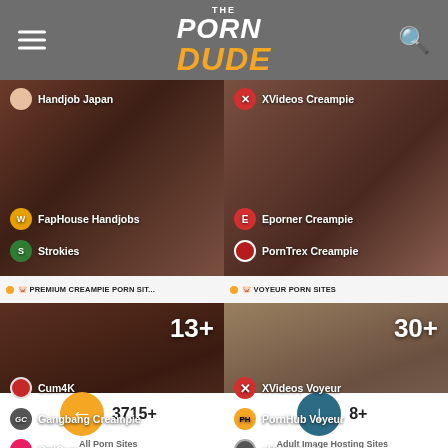The Porn Dude
[Figure (screenshot): Left thumbnail panel showing handjob-related site links: Handjob Japan, FapHouse Handjobs, Strokies]
[Figure (screenshot): Right thumbnail panel showing creampie site links: XVideos Creampie, Eporner Creampie, PornTrex Creampie]
PREMIUM CREAMPIE PORN SIT...
VOYEUR PORN SITES
[Figure (screenshot): Left thumbnail panel showing premium creampie sites: 13+, Cum4K, Gangbang Creampie, GirlCum]
[Figure (screenshot): Right thumbnail panel showing voyeur sites: 30+, XVideos Voyeur, PornHub Voyeur, xHamster Voyeur]
imgsrc.ru
3715+
All Porn Sites
8+
Adult Image Hosting Sites